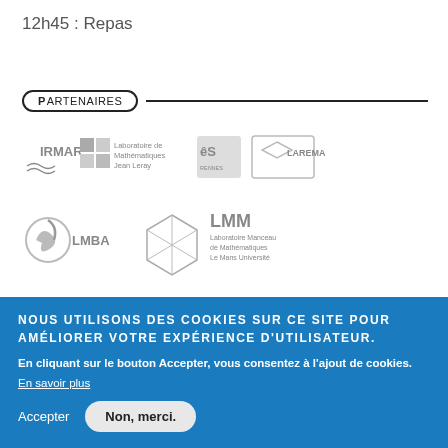12h45 : Repas
PARTENAIRES
[Figure (logo): Logos of partner institutions: IRMAR, Laboratoire de Mathématiques Jean Leray, ENS Rennes, LAREMA]
[Figure (logo): Logos: LMBA, LMM Laboratoire Manceau de Mathématiques Le Mans Université]
AFFILIATION
[Figure (logo): Logos of affiliated institutions: ANR, CNRS, Université de Rennes 1, Université Rennes, Nantes Université, INSA, and others]
NOUS UTILISONS DES COOKIES SUR CE SITE POUR AMÉLIORER VOTRE EXPÉRIENCE D'UTILISATEUR.
En cliquant sur le bouton Accepter, vous consentez à l'ajout de cookies.
En savoir plus
Accepter   Non, merci.